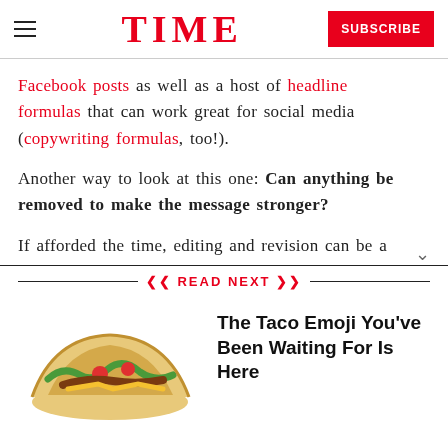TIME | SUBSCRIBE
Facebook posts as well as a host of headline formulas that can work great for social media (copywriting formulas, too!).
Another way to look at this one: Can anything be removed to make the message stronger?
If afforded the time, editing and revision can be a
READ NEXT
The Taco Emoji You've Been Waiting For Is Here